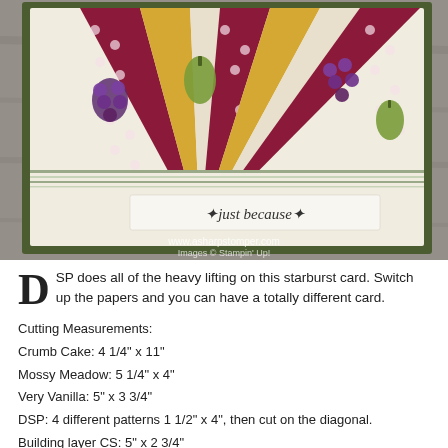[Figure (photo): Close-up photo of a handmade starburst card featuring patterned scrapbook papers (DSP) with fruit motifs including grapes and pears, in burgundy polka dot, yellow, and white patterns, arranged in a fan/starburst design on a green-bordered card with 'just because' stamped sentiment. Watermark reads www.asharpstomper.com, Images © Stampin' Up!]
DSP does all of the heavy lifting on this starburst card. Switch up the papers and you can have a totally different card.
Cutting Measurements:
Crumb Cake: 4 1/4" x 11"
Mossy Meadow: 5 1/4" x 4"
Very Vanilla: 5" x 3 3/4"
DSP: 4 different patterns 1 1/2" x 4", then cut on the diagonal.
Building layer CS: 5" x 2 3/4"